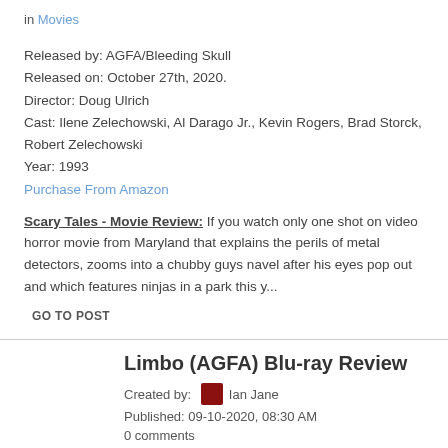in Movies
Released by: AGFA/Bleeding Skull
Released on: October 27th, 2020.
Director: Doug Ulrich
Cast: Ilene Zelechowski, Al Darago Jr., Kevin Rogers, Brad Storck, Robert Zelechowski
Year: 1993
Purchase From Amazon
Scary Tales - Movie Review: If you watch only one shot on video horror movie from Maryland that explains the perils of metal detectors, zooms into a chubby guys navel after his eyes pop out and which features ninjas in a park this y...
GO TO POST
Limbo (AGFA) Blu-ray Review
Created by: Ian Jane
Published: 09-10-2020, 08:30 AM
0 comments
in Movies
Released by: AGFA